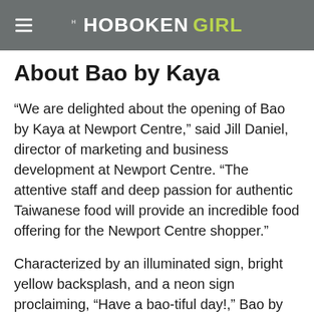THE HOBOKEN GIRL
About Bao by Kaya
“We are delighted about the opening of Bao by Kaya at Newport Centre,” said Jill Daniel, director of marketing and business development at Newport Centre. “The attentive staff and deep passion for authentic Taiwanese food will provide an incredible food offering for the Newport Centre shopper.”
Characterized by an illuminated sign, bright yellow backsplash, and a neon sign proclaiming, “Have a bao-tiful day!,” Bao by Kaya…